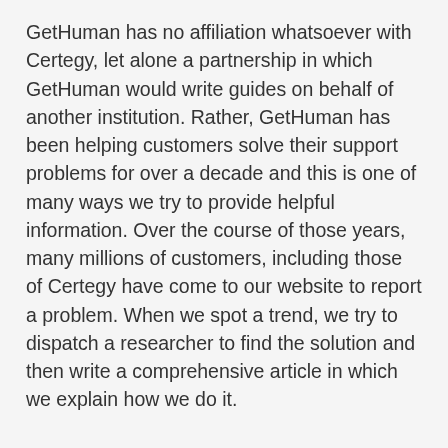GetHuman has no affiliation whatsoever with Certegy, let alone a partnership in which GetHuman would write guides on behalf of another institution. Rather, GetHuman has been helping customers solve their support problems for over a decade and this is one of many ways we try to provide helpful information. Over the course of those years, many millions of customers, including those of Certegy have come to our website to report a problem. When we spot a trend, we try to dispatch a researcher to find the solution and then write a comprehensive article in which we explain how we do it.